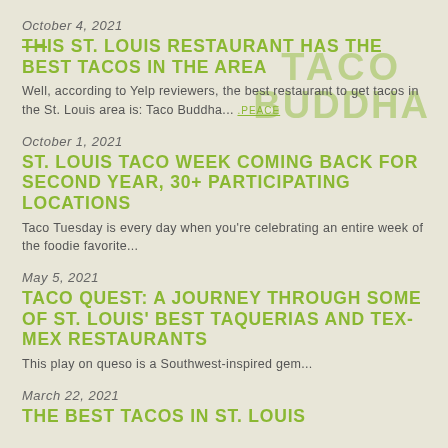[Figure (logo): Taco Buddha logo watermark in olive green, semi-transparent, displayed in upper right corner]
October 4, 2021
THIS ST. LOUIS RESTAURANT HAS THE BEST TACOS IN THE AREA
Well, according to Yelp reviewers, the best restaurant to get tacos in the St. Louis area is: Taco Buddha... .PEACE
October 1, 2021
ST. LOUIS TACO WEEK COMING BACK FOR SECOND YEAR, 30+ PARTICIPATING LOCATIONS
Taco Tuesday is every day when you're celebrating an entire week of the foodie favorite...
May 5, 2021
TACO QUEST: A JOURNEY THROUGH SOME OF ST. LOUIS' BEST TAQUERIAS AND TEX-MEX RESTAURANTS
This play on queso is a Southwest-inspired gem...
March 22, 2021
THE BEST TACOS IN ST. LOUIS